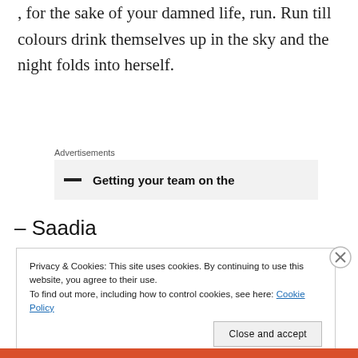, for the sake of your damned life, run. Run till colours drink themselves up in the sky and the night folds into herself.
Advertisements
[Figure (screenshot): Advertisement banner showing text 'Getting your team on the']
– Saadia
Privacy & Cookies: This site uses cookies. By continuing to use this website, you agree to their use.
To find out more, including how to control cookies, see here: Cookie Policy
Close and accept